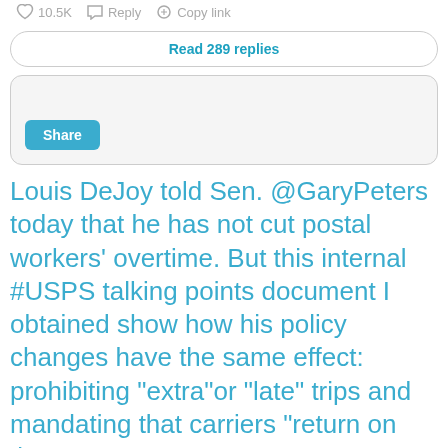10.5K   Reply   Copy link
Read 289 replies
[Figure (screenshot): Share section with a blue Share button on a light gray background]
Louis DeJoy told Sen. @GaryPeters today that he has not cut postal workers' overtime. But this internal #USPS talking points document I obtained show how his policy changes have the same effect: prohibiting "extra"or "late" trips and mandating that carriers "return on time."